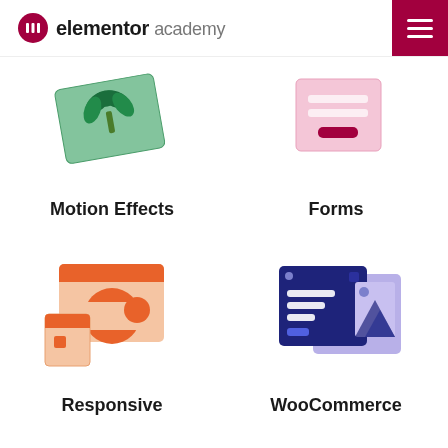elementor academy
[Figure (illustration): Motion Effects icon: green card with palm tree illustration, tilted]
Motion Effects
[Figure (illustration): Forms icon: pink/rose colored form UI mockup with a button]
Forms
[Figure (illustration): Responsive icon: orange/peach colored presentation/device design mockup]
Responsive
[Figure (illustration): WooCommerce icon: dark blue and lavender website layout mockup with image placeholder]
WooCommerce